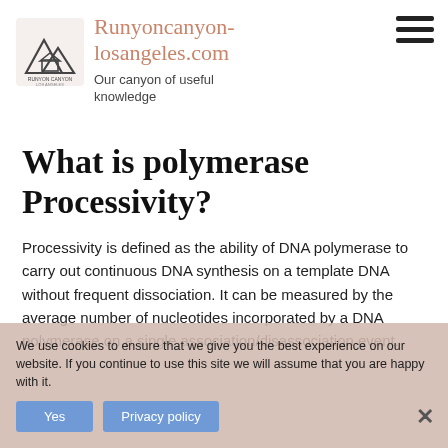[Figure (logo): Runyon Canyon Los Angeles logo — mountain silhouette with house icon]
Runyoncanyon-losangeles.com
Our canyon of useful knowledge
[Figure (illustration): Hamburger menu icon — three horizontal bars]
What is polymerase Processivity?
Processivity is defined as the ability of DNA polymerase to carry out continuous DNA synthesis on a template DNA without frequent dissociation. It can be measured by the average number of nucleotides incorporated by a DNA polymerase on a single association/disassociation event.
We use cookies to ensure that we give you the best experience on our website. If you continue to use this site we will assume that you are happy with it.